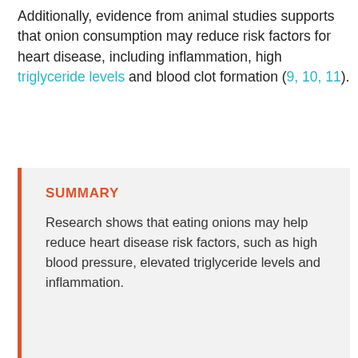Additionally, evidence from animal studies supports that onion consumption may reduce risk factors for heart disease, including inflammation, high triglyceride levels and blood clot formation (9, 10, 11).
SUMMARY
Research shows that eating onions may help reduce heart disease risk factors, such as high blood pressure, elevated triglyceride levels and inflammation.